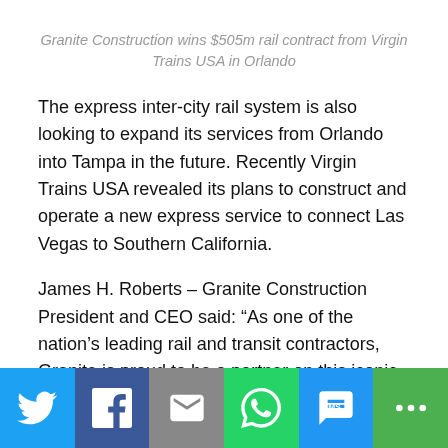Granite Construction wins $505m rail contract from Virgin Trains USA in Orlando
The express inter-city rail system is also looking to expand its services from Orlando into Tampa in the future. Recently Virgin Trains USA revealed its plans to construct and operate a new express service to connect Las Vegas to Southern California.
James H. Roberts – Granite Construction President and CEO said: “As one of the nation’s leading rail and transit contractors, Granite is proud to be a partner on this iconic project, which once completed, will provide Florida
[Figure (infographic): Social media share bar with icons for Twitter, Facebook, Email, WhatsApp, SMS, and More options]